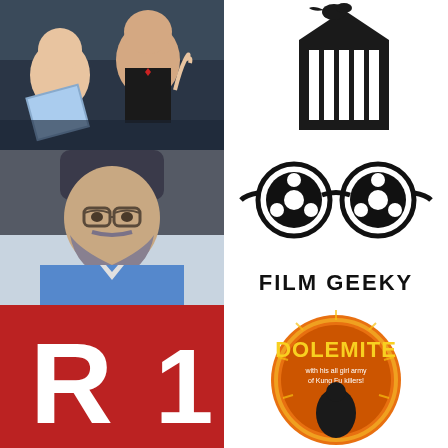[Figure (photo): Selfie photo of two people at what appears to be a film premiere or event, one young man laughing and another older man in a tuxedo making a peace sign, holding a movie programme]
[Figure (logo): Black silhouette logo of a film reel or cinema building shape on white background]
[Figure (photo): Selfie photo of a bearded man wearing glasses, taken inside a car, wearing a blue sweater]
[Figure (logo): Film Geeky logo: two film reels connected side by side like spectacles, with text FILM GEEKY below in bold black letters]
[Figure (logo): Red square logo with white letter R and a white number 1 or exclamation shape]
[Figure (illustration): Dolemite movie poster logo/badge in orange and yellow retro style text reading DOLEMITE with his all girl army of Kung Fu killers]